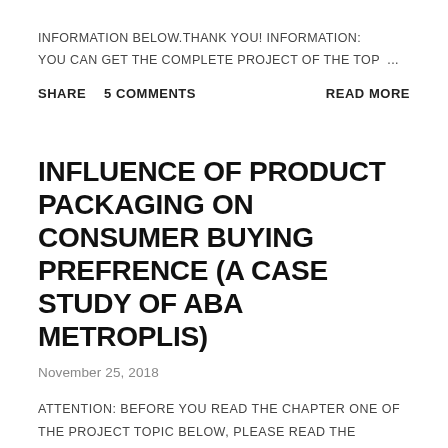INFORMATION BELOW.THANK YOU! INFORMATION: YOU CAN GET THE COMPLETE PROJECT OF THE TOP ...
SHARE   5 COMMENTS   READ MORE
INFLUENCE OF PRODUCT PACKAGING ON CONSUMER BUYING PREFRENCE (A CASE STUDY OF ABA METROPLIS)
November 25, 2018
ATTENTION: BEFORE YOU READ THE CHAPTER ONE OF THE PROJECT TOPIC BELOW, PLEASE READ THE INFORMATION BELOW.THANK YOU! INFORMATION: YOU